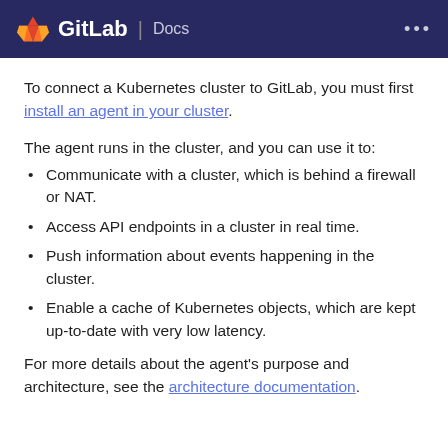GitLab | Docs
To connect a Kubernetes cluster to GitLab, you must first install an agent in your cluster.
The agent runs in the cluster, and you can use it to:
Communicate with a cluster, which is behind a firewall or NAT.
Access API endpoints in a cluster in real time.
Push information about events happening in the cluster.
Enable a cache of Kubernetes objects, which are kept up-to-date with very low latency.
For more details about the agent’s purpose and architecture, see the architecture documentation.